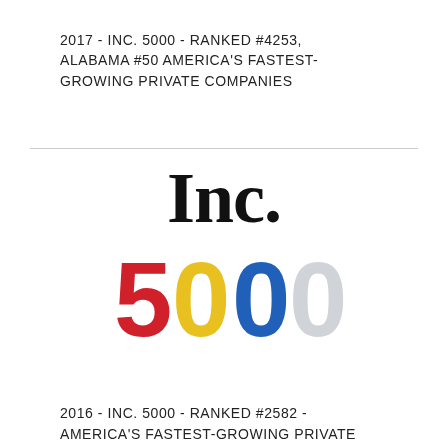2017 - INC. 5000 - RANKED #4253, ALABAMA #50 AMERICA'S FASTEST-GROWING PRIVATE COMPANIES
[Figure (logo): Inc. 5000 logo with 'Inc.' in bold serif font and '5000' in large colored digits: red 5, yellow-green 0, blue 0, light gray 0]
2016 - INC. 5000 - RANKED #2582 - AMERICA'S FASTEST-GROWING PRIVATE